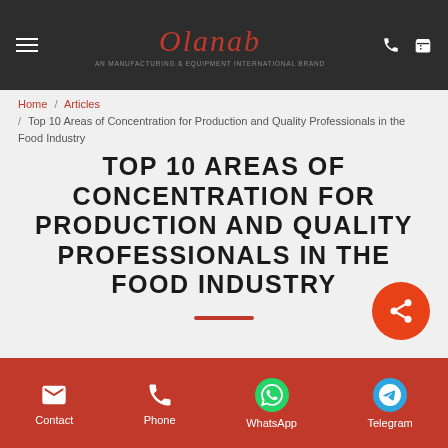Olanab — An Manufacturing & Equipment International Brand
Home / Articles / Top 10 Areas of Concentration for Production and Quality Professionals in the Food Industry
TOP 10 AREAS OF CONCENTRATION FOR PRODUCTION AND QUALITY PROFESSIONALS IN THE FOOD INDUSTRY
Contact | Phone | WhatsApp | Telegram